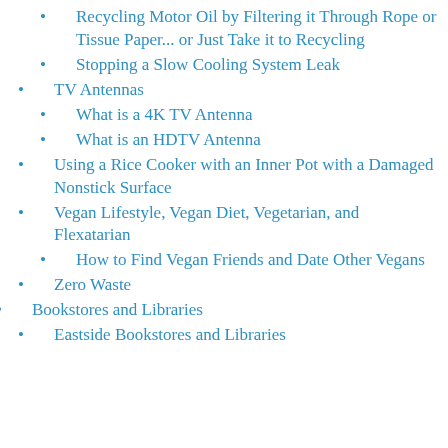Recycling Motor Oil by Filtering it Through Rope or Tissue Paper... or Just Take it to Recycling
Stopping a Slow Cooling System Leak
TV Antennas
What is a 4K TV Antenna
What is an HDTV Antenna
Using a Rice Cooker with an Inner Pot with a Damaged Nonstick Surface
Vegan Lifestyle, Vegan Diet, Vegetarian, and Flexatarian
How to Find Vegan Friends and Date Other Vegans
Zero Waste
Bookstores and Libraries
Eastside Bookstores and Libraries